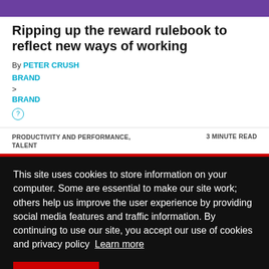[Figure (other): Purple decorative header bar]
Ripping up the reward rulebook to reflect new ways of working
By PETER CRUSH
BRAND
>
BRAND
?
PRODUCTIVITY AND PERFORMANCE, TALENT
3 MINUTE READ
This site uses cookies to store information on your computer. Some are essential to make our site work; others help us improve the user experience by providing social media features and traffic information. By continuing to use our site, you accept our use of cookies and privacy policy  Learn more
Got it and